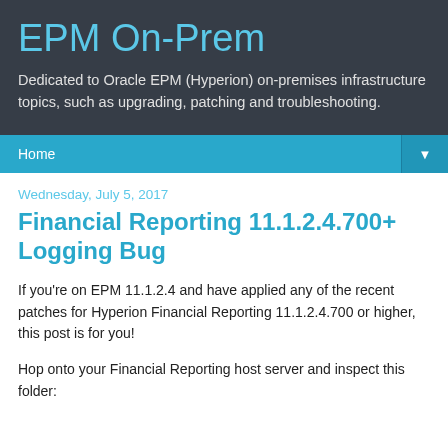EPM On-Prem
Dedicated to Oracle EPM (Hyperion) on-premises infrastructure topics, such as upgrading, patching and troubleshooting.
Home
Wednesday, July 5, 2017
Financial Reporting 11.1.2.4.700+ Logging Bug
If you're on EPM 11.1.2.4 and have applied any of the recent patches for Hyperion Financial Reporting 11.1.2.4.700 or higher, this post is for you!
Hop onto your Financial Reporting host server and inspect this folder: